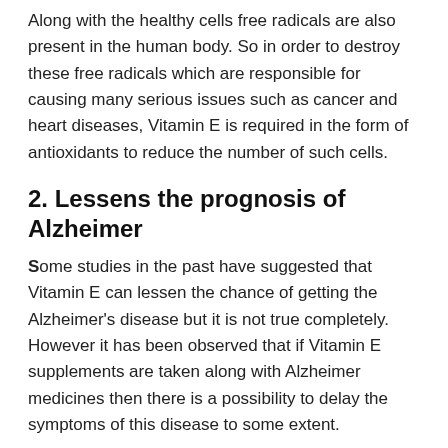Along with the healthy cells free radicals are also present in the human body. So in order to destroy these free radicals which are responsible for causing many serious issues such as cancer and heart diseases, Vitamin E is required in the form of antioxidants to reduce the number of such cells.
2. Lessens the prognosis of Alzheimer
Some studies in the past have suggested that Vitamin E can lessen the chance of getting the Alzheimer's disease but it is not true completely. However it has been observed that if Vitamin E supplements are taken along with Alzheimer medicines then there is a possibility to delay the symptoms of this disease to some extent.
3. Protect your Eyesight